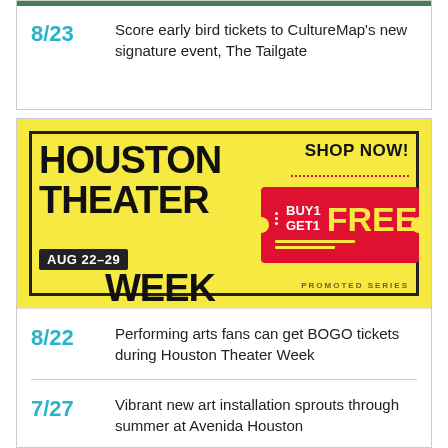8/23  Score early bird tickets to CultureMap's new signature event, The Tailgate
[Figure (illustration): Houston Theater Week advertisement banner — yellow background, bold text HOUSTON THEATER WEEK AUG 22-29, red ticket graphic with BUY1 GET1 FREE, SHOP NOW! text, PROMOTED SERIES label]
8/22  Performing arts fans can get BOGO tickets during Houston Theater Week
7/27  Vibrant new art installation sprouts through summer at Avenida Houston
4/6  Return of Avenida's free concert series brings the party back to Houston